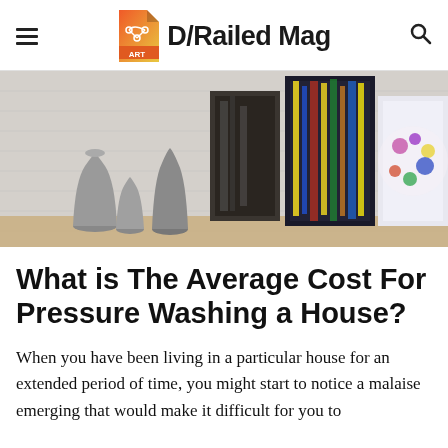D/Railed Mag
[Figure (photo): Art gallery style scene with colorful abstract paintings leaning against a white brick wall, accompanied by decorative metallic vases on a wooden surface]
What is The Average Cost For Pressure Washing a House?
When you have been living in a particular house for an extended period of time, you might start to notice a malaise emerging that would make it difficult for you to